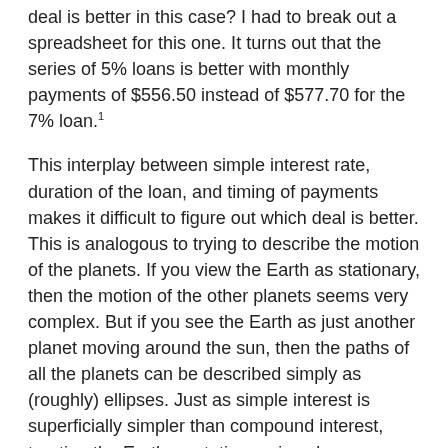deal is better in this case? I had to break out a spreadsheet for this one. It turns out that the series of 5% loans is better with monthly payments of $556.50 instead of $577.70 for the 7% loan.¹
This interplay between simple interest rate, duration of the loan, and timing of payments makes it difficult to figure out which deal is better. This is analogous to trying to describe the motion of the planets. If you view the Earth as stationary, then the motion of the other planets seems very complex. But if you see the Earth as just another planet moving around the sun, then the paths of all the planets can be described simply as (roughly) ellipses. Just as simple interest is superficially simpler than compound interest, treating the Earth as stationary is only superficially simpler than treating it as though it moves around the sun.
Bank Incentives in a Simple Interest World
Let's look at things from the bank's point of view after 20 years into a 7% simple interest 25-year loan. Each dollar of the initial loan that hasn't been paid off already has grown by